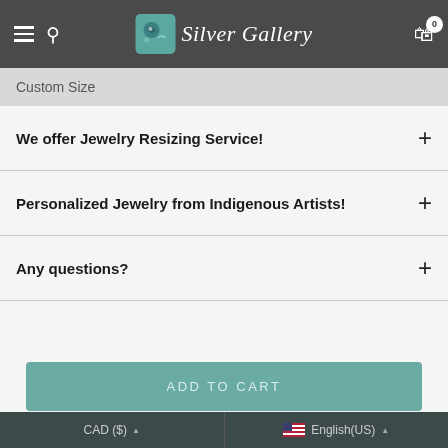Silver Gallery
Custom Size
We offer Jewelry Resizing Service!
Personalized Jewelry from Indigenous Artists!
Any questions?
ADD TO CART
CAD ($) English(US)